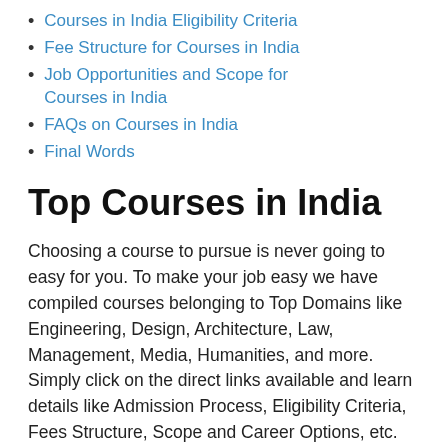Courses in India Eligibility Criteria
Fee Structure for Courses in India
Job Opportunities and Scope for Courses in India
FAQs on Courses in India
Final Words
Top Courses in India
Choosing a course to pursue is never going to easy for you. To make your job easy we have compiled courses belonging to Top Domains like Engineering, Design, Architecture, Law, Management, Media, Humanities, and more. Simply click on the direct links available and learn details like Admission Process, Eligibility Criteria, Fees Structure, Scope and Career Options, etc.